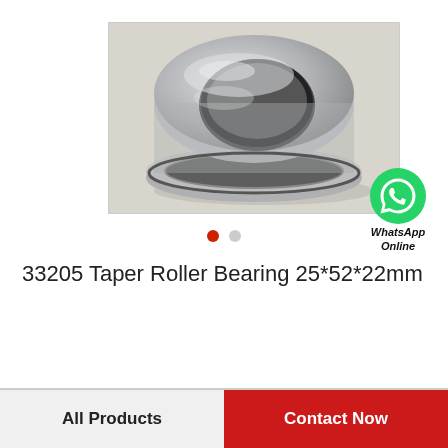[Figure (photo): A tapered roller bearing (33205, 25x52x22mm) shown dismantled — the outer ring and inner assembly with rollers, steel/silver finish, on a light cardboard background.]
33205 Taper Roller Bearing 25*52*22mm
All Products
Contact Now